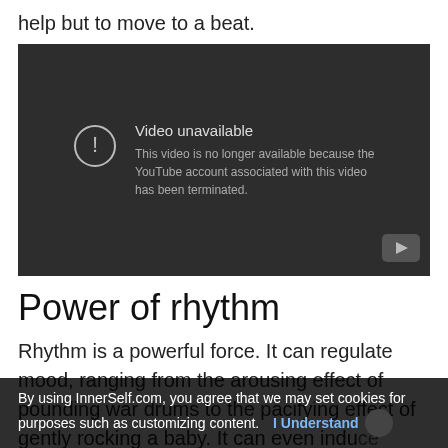help but to move to a beat.
[Figure (screenshot): Embedded YouTube video player showing 'Video unavailable' error message: 'This video is no longer available because the YouTube account associated with this video has been terminated.']
Power of rhythm
Rhythm is a powerful force. It can regulate mood, ranging from the arousing effect of pounding war drums to the pacifying effect of gently rocking a baby. It can even induce altered states of consciousness, as in spiritual rituals and shamanic traditions involving trance.
By using InnerSelf.com, you agree that we may set cookies for purposes such as customizing content.  I Understand